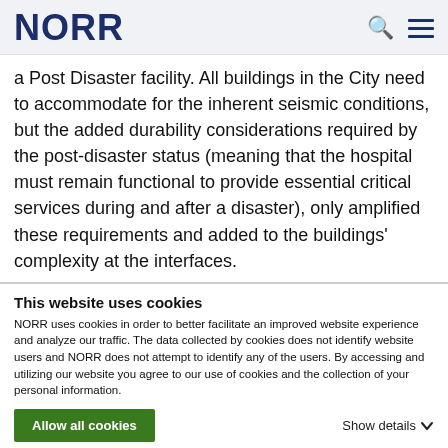NORR
a Post Disaster facility. All buildings in the City need to accommodate for the inherent seismic conditions, but the added durability considerations required by the post-disaster status (meaning that the hospital must remain functional to provide essential critical services during and after a disaster), only amplified these requirements and added to the buildings' complexity at the interfaces.
This website uses cookies
NORR uses cookies in order to better facilitate an improved website experience and analyze our traffic. The data collected by cookies does not identify website users and NORR does not attempt to identify any of the users. By accessing and utilizing our website you agree to our use of cookies and the collection of your personal information.
Allow all cookies
Show details